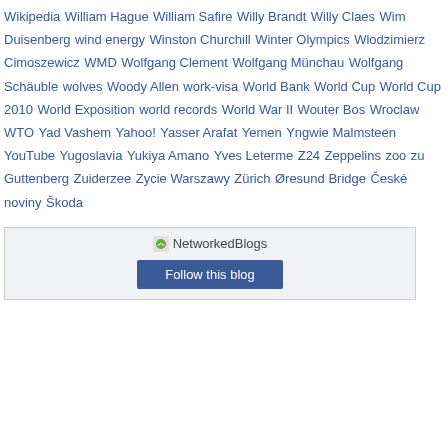Wikipedia William Hague William Safire Willy Brandt Willy Claes Wim Duisenberg wind energy Winston Churchill Winter Olympics Wlodzimierz Cimoszewicz WMD Wolfgang Clement Wolfgang Münchau Wolfgang Schäuble wolves Woody Allen work-visa World Bank World Cup World Cup 2010 World Exposition world records World War II Wouter Bos Wroclaw WTO Yad Vashem Yahoo! Yasser Arafat Yemen Yngwie Malmsteen YouTube Yugoslavia Yukiya Amano Yves Leterme Z24 Zeppelins zoo zu Guttenberg Zuiderzee Zycie Warszawy Zürich Øresund Bridge České noviny Škoda
[Figure (other): NetworkedBlogs widget with logo and Follow this blog button]